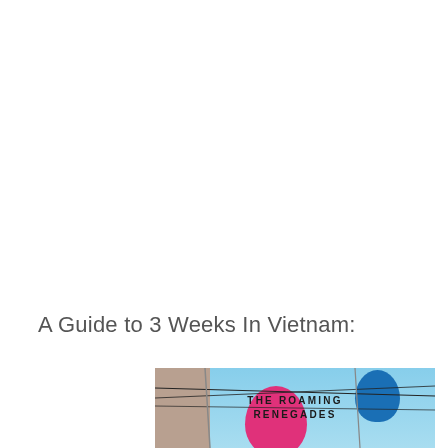A Guide to 3 Weeks In Vietnam:
[Figure (photo): A travel blog logo image showing colorful lanterns (pink and blue) hanging against a blue sky with wires, with a building on the left side. Text overlay reads 'THE ROAMING RENEGADES' in bold uppercase letters.]